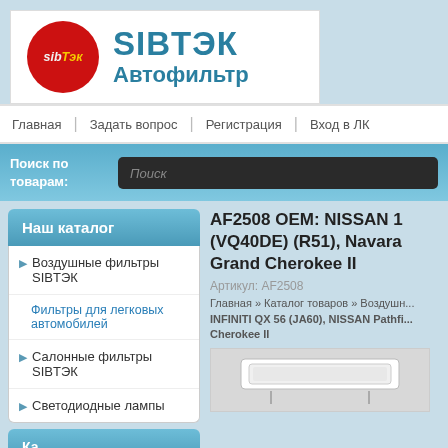[Figure (logo): SIBTЭК Автофильтр logo with red circle and company name]
Главная | Задать вопрос | Регистрация | Вход в ЛК
Поиск по товарам: Поиск
Наш каталог
Воздушные фильтры SIBTЭК
Фильтры для легковых автомобилей
Салонные фильтры SIBTЭК
Светодиодные лампы
AF2508 OEM: NISSAN 1 (VQ40DE) (R51), Navara Grand Cherokee II
Артикул: AF2508
Главная » Каталог товаров » Воздушн... INFINITI QX 56 (JA60), NISSAN Pathfi... Cherokee II
[Figure (photo): Product image of auto filter AF2508]